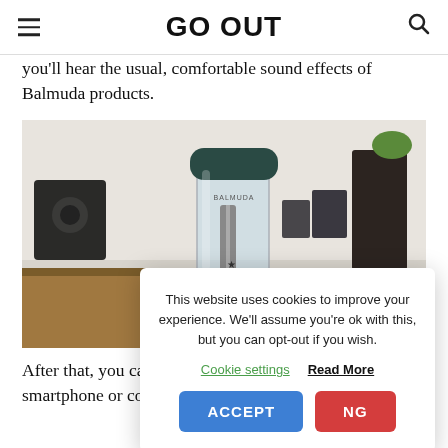GO OUT
you'll hear the usual, comfortable sound effects of Balmuda products.
[Figure (photo): Close-up photo of a Balmuda branded glass coffee/beverage container with a dark lid, placed on a wooden surface with speakers and shelving in the background]
This website uses cookies to improve your experience. We'll assume you're ok with this, but you can opt-out if you wish.
Cookie settings   Read More
ACCEPT   NG
After that, you ca… smartphone or computer via Bluetooth.